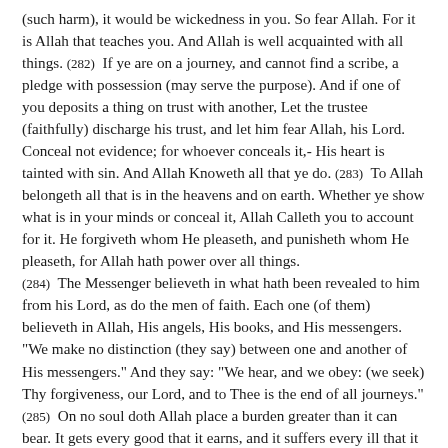(such harm), it would be wickedness in you. So fear Allah. For it is Allah that teaches you. And Allah is well acquainted with all things. (282) If ye are on a journey, and cannot find a scribe, a pledge with possession (may serve the purpose). And if one of you deposits a thing on trust with another, Let the trustee (faithfully) discharge his trust, and let him fear Allah, his Lord. Conceal not evidence; for whoever conceals it,- His heart is tainted with sin. And Allah Knoweth all that ye do. (283) To Allah belongeth all that is in the heavens and on earth. Whether ye show what is in your minds or conceal it, Allah Calleth you to account for it. He forgiveth whom He pleaseth, and punisheth whom He pleaseth, for Allah hath power over all things. (284) The Messenger believeth in what hath been revealed to him from his Lord, as do the men of faith. Each one (of them) believeth in Allah, His angels, His books, and His messengers. "We make no distinction (they say) between one and another of His messengers." And they say: "We hear, and we obey: (we seek) Thy forgiveness, our Lord, and to Thee is the end of all journeys." (285) On no soul doth Allah place a burden greater than it can bear. It gets every good that it earns, and it suffers every ill that it earns. (Pray:) "Our Lord! Condemn us not if we forget or fall into error; our Lord! Lay not on us a burden like that which Thou didst lay on those before us; Our Lord! Lay not on us a burden greater than we have strength to bear. Blot out our sins, and grant us forgiveness. Have mercy on us. Thou art